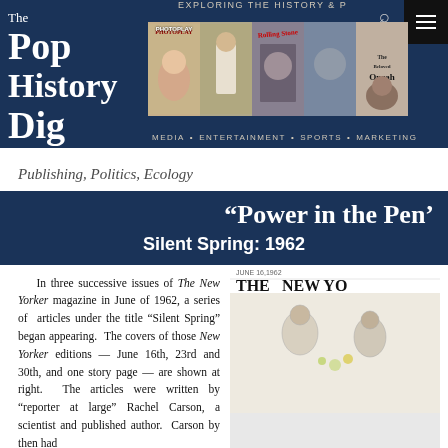[Figure (screenshot): The Pop History Dig website header with logo, magazine cover images strip, navigation icons, and menu bar reading Media, Entertainment, Sports, Marketing]
Publishing, Politics, Ecology
“Power in the Pen’
Silent Spring: 1962
In three successive issues of The New Yorker magazine in June of 1962, a series of articles under the title “Silent Spring” began appearing. The covers of those New Yorker editions — June 16th, 23rd and 30th, and one story page — are shown at right. The articles were written by “reporter at large” Rachel Carson, a scientist and published author. Carson by then had
[Figure (illustration): The New Yorker magazine cover partial view showing date and title THE NEW YO...]